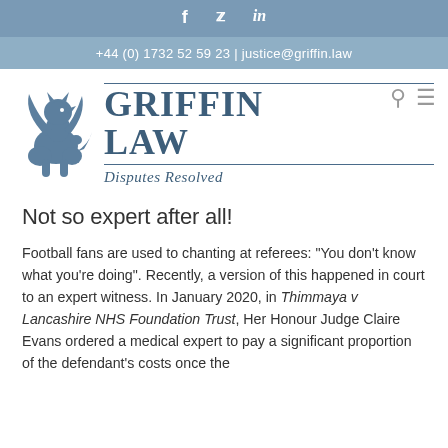f  t  in
+44 (0) 1732 52 59 23 | justice@griffin.law
[Figure (logo): Griffin Law logo with griffin heraldic animal illustration and firm name 'GRIFFIN LAW' with tagline 'Disputes Resolved']
Not so expert after all!
Football fans are used to chanting at referees: "You don't know what you're doing". Recently, a version of this happened in court to an expert witness. In January 2020, in Thimmaya v Lancashire NHS Foundation Trust, Her Honour Judge Claire Evans ordered a medical expert to pay a significant proportion of the defendant's costs once the